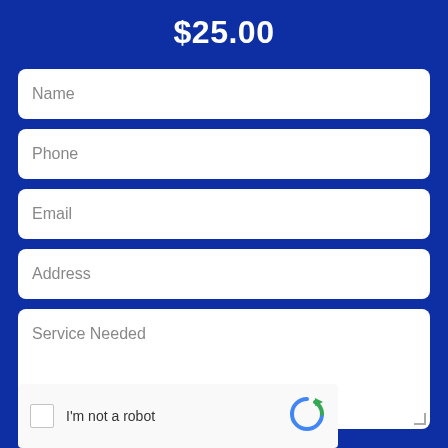$25.00
Name
Phone
Email
Address
Service Needed
I'm not a robot